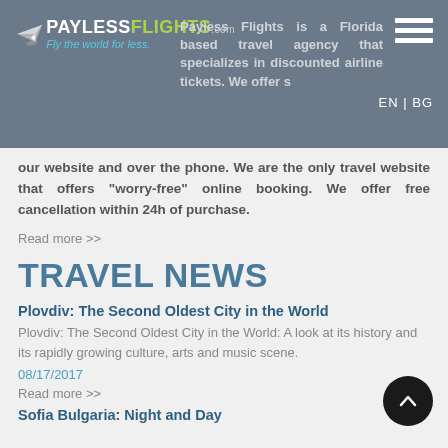[Figure (logo): PaylessFlights.com logo with paper airplane icon and tagline 'Fly the world for less']
Payless Flights is a Florida based travel agency that specializes in discounted airline tickets. We offer services on our website and over the phone. We are the only travel website that offers worry-free online booking. We offer free cancellation within 24h of purchase.
Read more >>
TRAVEL NEWS
Plovdiv: The Second Oldest City in the World
Plovdiv: The Second Oldest City in the World: A look at its history and its rapidly growing culture, arts and music scene.
08/17/2017
Read more >>
Sofia Bulgaria: Night and Day